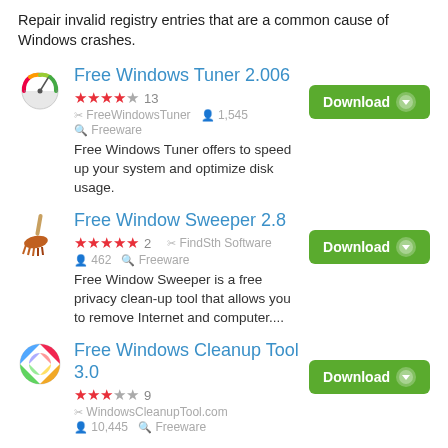Repair invalid registry entries that are a common cause of Windows crashes.
Free Windows Tuner 2.006
★★★★☆ 13  🔧 FreeWindowsTuner  👤 1,545  🔍 Freeware
Free Windows Tuner offers to speed up your system and optimize disk usage.
Free Window Sweeper 2.8
★★★★★ 2  🔧 FindSth Software  👤 462  🔍 Freeware
Free Window Sweeper is a free privacy clean-up tool that allows you to remove Internet and computer....
Free Windows Cleanup Tool 3.0
★★★☆☆ 9  🔧 WindowsCleanupTool.com  👤 10,445  🔍 Freeware